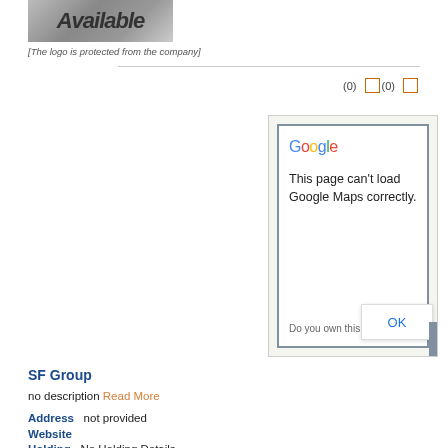[Figure (logo): Company logo with text 'Available' on gradient grey background]
[The logo is protected from the company]
(0) □(0) □
[Figure (screenshot): Google Maps error screenshot showing 'This page can't load Google Maps correctly.' with 'Do you own this website?' and OK button]
SF Group
no description Read More
Address   not provided
Website
Holding   No Holding Details